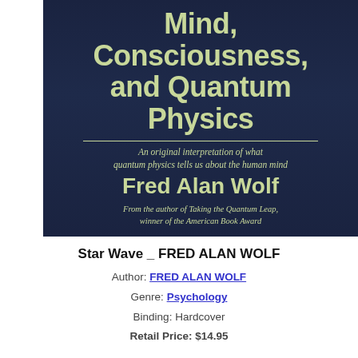[Figure (photo): Book cover of 'Mind, Consciousness, and Quantum Physics' by Fred Alan Wolf. Dark navy blue background with cream/tan text. Large title text reads 'Mind, Consciousness, and Quantum Physics', subtitle: 'An original interpretation of what quantum physics tells us about the human mind', large bold author name 'Fred Alan Wolf', tagline: 'From the author of Taking the Quantum Leap, winner of the American Book Award'.]
Star Wave _ FRED ALAN WOLF
Author: FRED ALAN WOLF
Genre: Psychology
Binding: Hardcover
Retail Price: $14.95